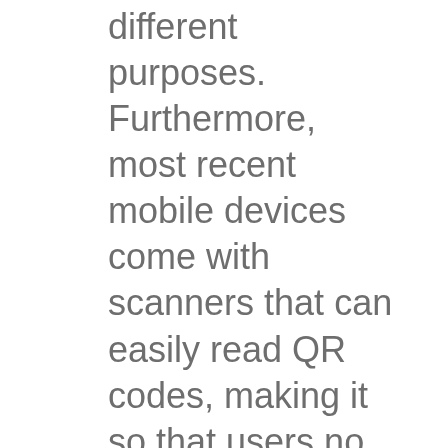different purposes. Furthermore, most recent mobile devices come with scanners that can easily read QR codes, making it so that users no longer have to develop apps to do so. Use of QR codes can also tracked for analytics. The major disadvantage of QR codes is that customers are required to actively engage with them, in other words, customers must already be interested in the item that the QR code will direct them to and they have no easier way to get to said item or produce the same result. This is one of the major